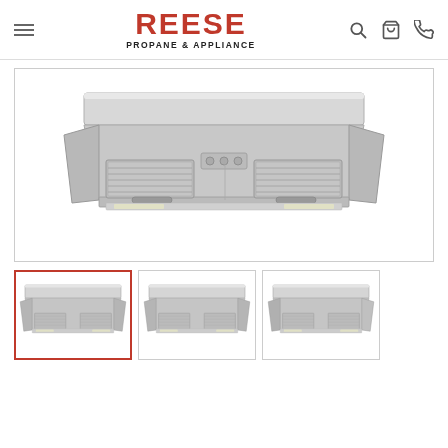REESE PROPANE & APPLIANCE — navigation header with hamburger menu, logo, search icon, cart icon, phone icon
[Figure (photo): Main product image of a stainless steel under-cabinet range hood (kitchen exhaust fan), front-facing view with two grease filters and central control knobs, displayed in a white bordered product box]
[Figure (photo): Thumbnail 1 (active/selected, red border): stainless steel range hood, front-left angle view]
[Figure (photo): Thumbnail 2: stainless steel range hood, front-left angle view slightly different]
[Figure (photo): Thumbnail 3: stainless steel range hood, front-right angle view]